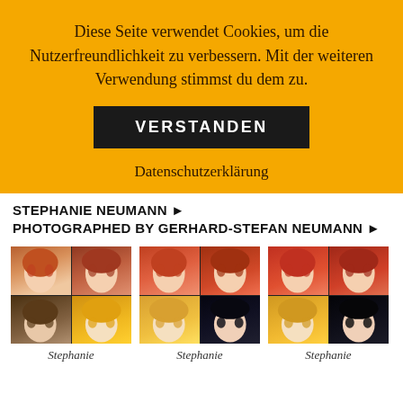Diese Seite verwendet Cookies, um die Nutzerfreundlichkeit zu verbessern. Mit der weiteren Verwendung stimmst du dem zu.
VERSTANDEN
Datenschutzerklärung
STEPHANIE NEUMANN ▶ PHOTOGRAPHED BY GERHARD-STEFAN NEUMANN ▶
[Figure (photo): Four-panel photo grid showing a woman with red/auburn hair in top two panels, then brown and blonde hair in bottom two panels]
Stephanie
[Figure (photo): Four-panel photo grid showing a woman with red/auburn hair in top two panels, then blonde and black hair in bottom two panels]
Stephanie
[Figure (photo): Four-panel photo grid showing a woman with red/auburn hair in top two panels, then blonde and dark hair in bottom two panels]
Stephanie